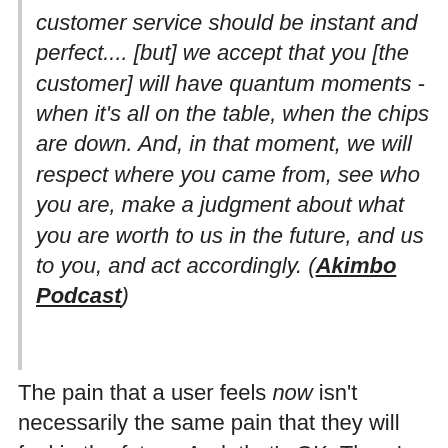customer service should be instant and perfect.... [but] we accept that you [the customer] will have quantum moments - when it's all on the table, when the chips are down. And, in that moment, we will respect where you came from, see who you are, make a judgment about what you are worth to us in the future, and us to you, and act accordingly. (Akimbo Podcast)
The pain that a user feels now isn't necessarily the same pain that they will feel in the future. And, that's OK. There's no reason we can't do our best, with the resources that we have at our